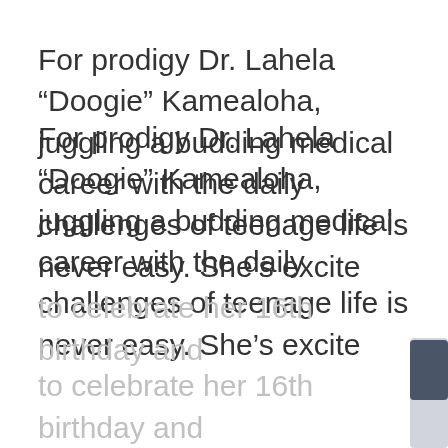For prodigy Dr. Lahela “Doogie” Kamealoha, juggling a budding medical career with the daily challenges of teenage life is never easy. She’s excited to celebrate her 16th birthday and